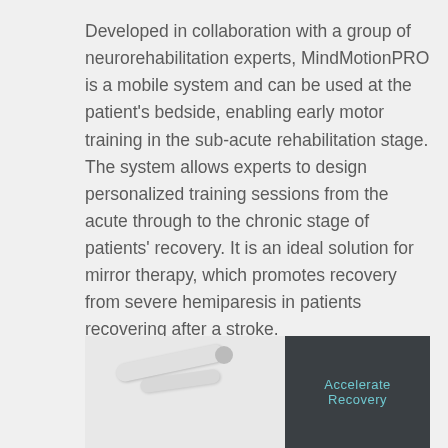Developed in collaboration with a group of neurorehabilitation experts, MindMotionPRO is a mobile system and can be used at the patient's bedside, enabling early motor training in the sub-acute rehabilitation stage. The system allows experts to design personalized training sessions from the acute through to the chronic stage of patients' recovery. It is an ideal solution for mirror therapy, which promotes recovery from severe hemiparesis in patients recovering after a stroke.
[Figure (photo): Product photo of MindMotionPRO device with a dark panel showing 'Accelerate Recovery' text in teal/cyan color]